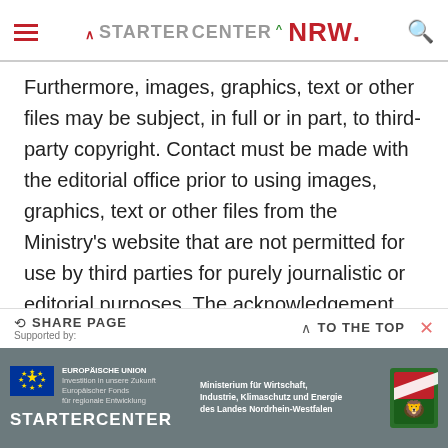STARTERCENTER NRW.
Furthermore, images, graphics, text or other files may be subject, in full or in part, to third-party copyright. Contact must be made with the editorial office prior to using images, graphics, text or other files from the Ministry's website that are not permitted for use by third parties for purely journalistic or editorial purposes. The acknowledgement should be specified as follows: © MWIKE NRW/Name of the originator
SHARE PAGE | Supported by: | TO THE TOP
EUROPÄISCHE UNION Investition in unsere Zukunft Europäischer Fonds für regionale Entwicklung | STARTERCENTER | Ministerium für Wirtschaft, Industrie, Klimaschutz und Energie des Landes Nordrhein-Westfalen